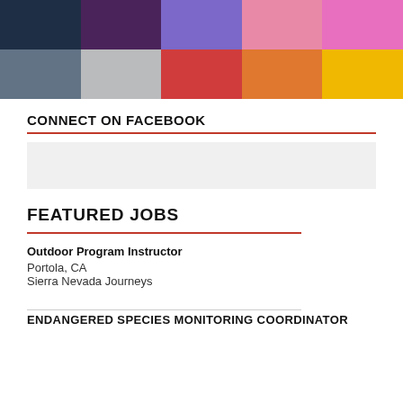[Figure (infographic): Color palette grid with two rows of color swatches: top row has dark navy, dark purple, medium purple, pink, bright pink; bottom row has steel blue-gray, light gray, red/orange-red, orange, golden yellow]
CONNECT ON FACEBOOK
[Figure (other): Light gray placeholder box for Facebook widget]
FEATURED JOBS
Outdoor Program Instructor
Portola, CA
Sierra Nevada Journeys
ENDANGERED SPECIES MONITORING COORDINATOR